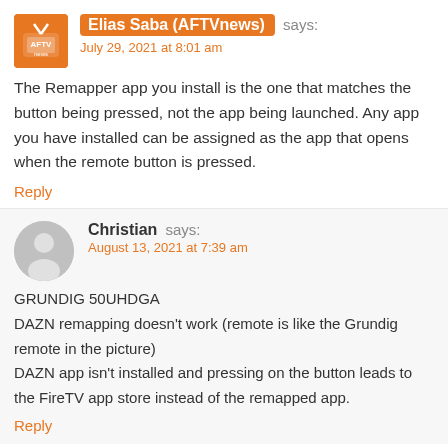Elias Saba (AFTVnews) says: July 29, 2021 at 8:01 am
The Remapper app you install is the one that matches the button being pressed, not the app being launched. Any app you have installed can be assigned as the app that opens when the remote button is pressed.
Reply
Christian says: August 13, 2021 at 7:39 am
GRUNDIG 50UHDGA
DAZN remapping doesn't work (remote is like the Grundig remote in the picture)
DAZN app isn't installed and pressing on the button leads to the FireTV app store instead of the remapped app.
Reply